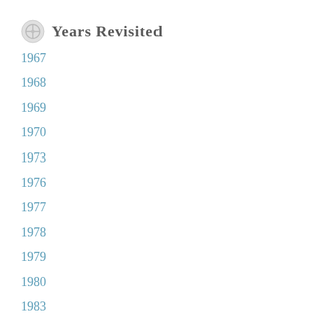Years Revisited
1967
1968
1969
1970
1973
1976
1977
1978
1979
1980
1983